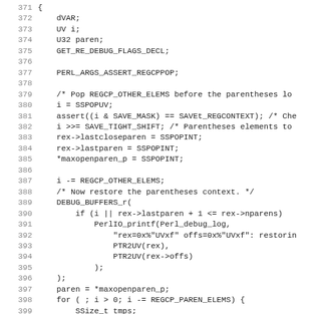Code listing lines 371-402, C source code for regex backtracking/checkpoint restoration